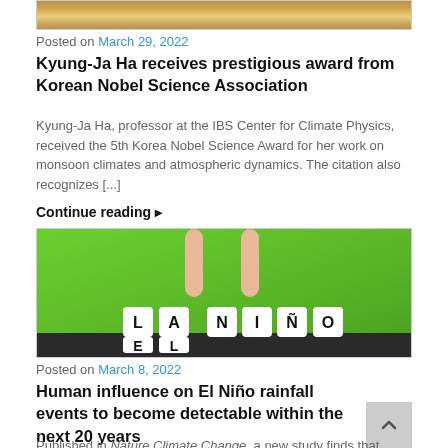[Figure (photo): Top portion of a photo showing what appears to be a yellow comb or brush on a wooden surface]
Posted on March 29, 2022
Kyung-Ja Ha receives prestigious award from Korean Nobel Science Association
Kyung-Ja Ha, professor at the IBS Center for Climate Physics, received the 5th Korea Nobel Science Award for her work on monsoon climates and atmospheric dynamics. The citation also recognizes [...]
Continue reading ▶
[Figure (photo): Photo of two fingers pointing down at letter dice spelling 'LA' and 'EL NINO' on a dark surface against a green background]
Posted on March 8, 2022
Human influence on El Niño rainfall events to become detectable within the next 20 years
Published in Nature Climate Change, a new study finds that rainfall